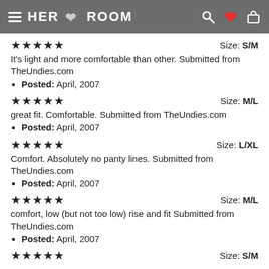HER ROOM
★★★★★  Size: S/M
It's light and more comfortable than other. Submitted from TheUndies.com
• Posted: April, 2007
★★★★★  Size: M/L
great fit. Comfortable. Submitted from TheUndies.com
• Posted: April, 2007
★★★★★  Size: L/XL
Comfort. Absolutely no panty lines. Submitted from TheUndies.com
• Posted: April, 2007
★★★★★  Size: M/L
comfort, low (but not too low) rise and fit Submitted from TheUndies.com
• Posted: April, 2007
★★★★★  Size: S/M